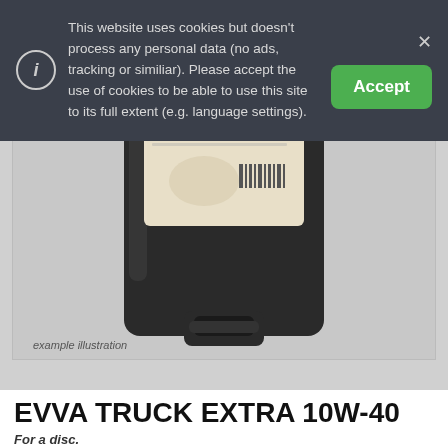[Figure (screenshot): Cookie consent banner overlay on a dark semi-transparent background with an info icon, cookie policy text, close button (×), and a green Accept button]
This website uses cookies but doesn't process any personal data (no ads, tracking or similiar). Please accept the use of cookies to be able to use this site to its full extent (e.g. language settings).
[Figure (photo): A dark-colored rectangular plastic oil container/jug with a label reading 'EVVA TRUCK EXTRA 10W-40' and a barcode visible on the label. Caption below the image reads 'example illustration'.]
example illustration
EVVA TRUCK EXTRA 10W-40
For a disc.